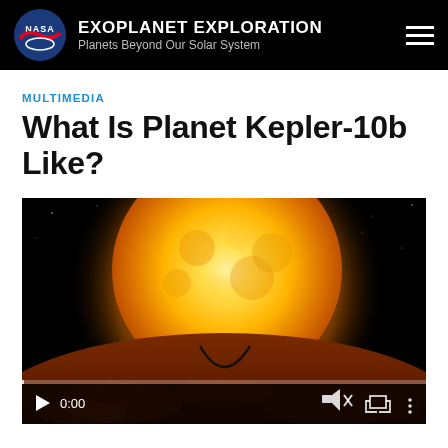EXOPLANET EXPLORATION Planets Beyond Our Solar System
MULTIMEDIA
What Is Planet Kepler-10b Like?
[Figure (screenshot): Video player screenshot showing an artist illustration of exoplanet Kepler-10b with a large orange-yellow star rising above a rocky barren planet surface against a black starry sky background. Video controls show play button, 0:00 timestamp, mute icon, fullscreen icon, and more options icon.]